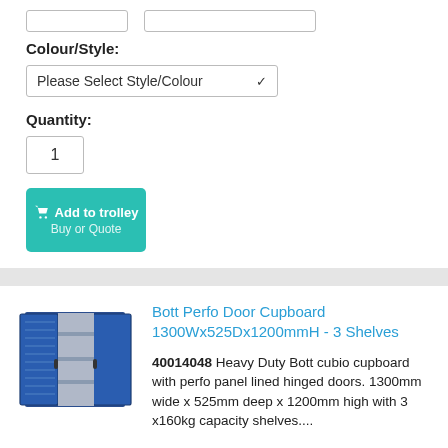Colour/Style:
Please Select Style/Colour
Quantity:
1
Add to trolley Buy or Quote
[Figure (photo): Blue Bott Perfo Door Cupboard with shelves visible through open doors]
Bott Perfo Door Cupboard 1300Wx525Dx1200mmH - 3 Shelves
40014048 Heavy Duty Bott cubio cupboard with perfo panel lined hinged doors. 1300mm wide x 525mm deep x 1200mm high with 3 x160kg capacity shelves....